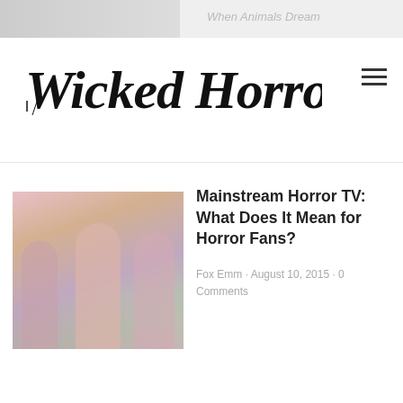Wicked Horror
Mainstream Horror TV: What Does It Mean for Horror Fans?
Fox Emm · August 10, 2015 · 0 Comments
What's Going on With Turkish Horror Film Magi?
Tyler Doupé · July 20, 2015 · 1 Comment